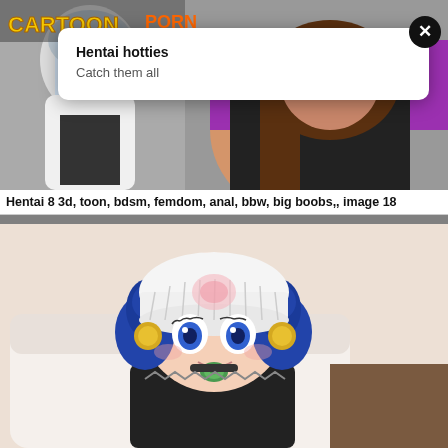[Figure (illustration): Website header with cartoon/anime logo and background illustration of anime character. A popup notification overlays the top portion.]
Hentai hotties
Catch them all
Hentai 8 3d, toon, bdsm, femdom, anal, bbw, big boobs,, image 18
[Figure (illustration): Anime-style cartoon character: a young girl with blue hair in twin buns, wearing a white beanie hat with pink circular design, gold ear accessories, black outfit, sitting on a white couch, holding something green in her mouth, smiling.]